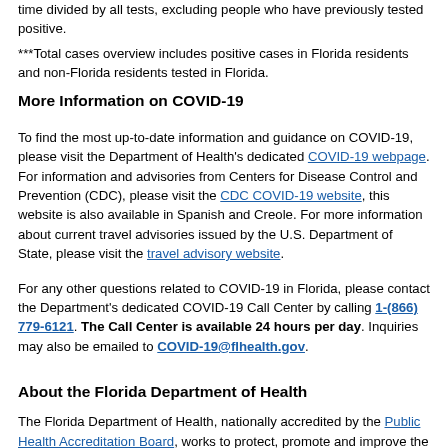time divided by all tests, excluding people who have previously tested positive.
***Total cases overview includes positive cases in Florida residents and non-Florida residents tested in Florida.
More Information on COVID-19
To find the most up-to-date information and guidance on COVID-19, please visit the Department of Health's dedicated COVID-19 webpage. For information and advisories from Centers for Disease Control and Prevention (CDC), please visit the CDC COVID-19 website, this website is also available in Spanish and Creole. For more information about current travel advisories issued by the U.S. Department of State, please visit the travel advisory website.
For any other questions related to COVID-19 in Florida, please contact the Department's dedicated COVID-19 Call Center by calling 1-(866) 779-6121. The Call Center is available 24 hours per day. Inquiries may also be emailed to COVID-19@flhealth.gov.
About the Florida Department of Health
The Florida Department of Health, nationally accredited by the Public Health Accreditation Board, works to protect, promote and improve the health of all people in Florida through integrated state, county and community efforts.
Follow us on Facebook, Instagram and Twitter at @HealthyFla. For more information please visit